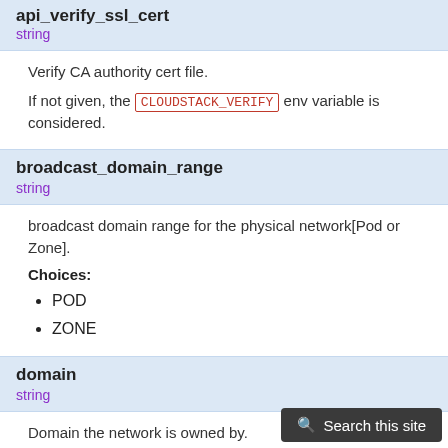api_verify_ssl_cert
string
Verify CA authority cert file.
If not given, the CLOUDSTACK_VERIFY env variable is considered.
broadcast_domain_range
string
broadcast domain range for the physical network[Pod or Zone].
Choices:
POD
ZONE
domain
string
Domain the network is owned by.
isolation_method
string